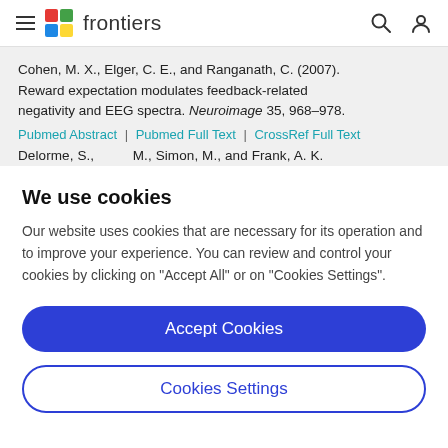frontiers (navigation bar with hamburger menu, logo, search and user icons)
Cohen, M. X., Elger, C. E., and Ranganath, C. (2007). Reward expectation modulates feedback-related negativity and EEG spectra. Neuroimage 35, 968–978.
Pubmed Abstract | Pubmed Full Text | CrossRef Full Text
Delorme, S., ...
We use cookies
Our website uses cookies that are necessary for its operation and to improve your experience. You can review and control your cookies by clicking on "Accept All" or on "Cookies Settings".
Accept Cookies
Cookies Settings